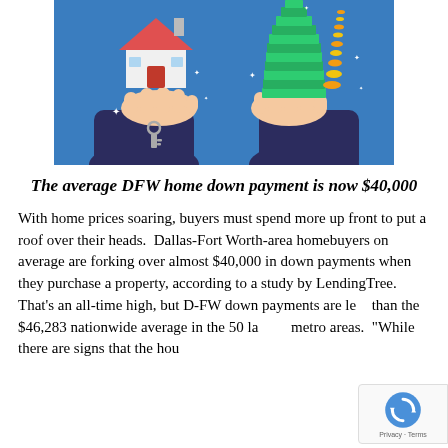[Figure (illustration): Illustration on blue background showing two hands facing each other: left hand holding a house model with keys, right hand holding a large stack of money bills and gold coins soaring upward. Depicts a real estate transaction.]
The average DFW home down payment is now $40,000
With home prices soaring, buyers must spend more up front to put a roof over their heads.  Dallas-Fort Worth-area homebuyers on average are forking over almost $40,000 in down payments when they purchase a property, according to a study by LendingTree.  That's an all-time high, but D-FW down payments are less than the $46,283 nationwide average in the 50 largest metro areas.  "While there are signs that the housing